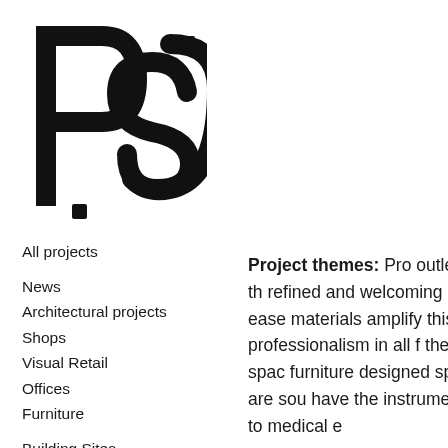[Figure (logo): PSC architectural firm logo — large bold letters P, S, C in black]
All projects
News
Architectural projects
Shops
Visual Retail
Offices
Furniture
Building Sites
Press
About
Services
Contacts
Project themes: Pro outlets dedicated to th refined and welcoming chance to feel at ease materials amplify this id professionalism in all f the person". The spac furniture designed spe private rooms are sou have the instrumentalis equivalent to medical e